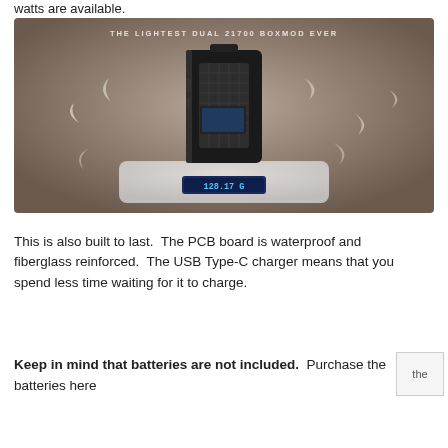watts are available.
[Figure (photo): Product photo of a dual 21700 boxmod vape device sitting on a digital scale reading 128.17g, with text 'THE LIGHTEST DUAL 21700 BOXMOD EVER' at top. The device is black with carbon fiber panel. Background is brown/taupe gradient with decorative white swoosh elements.]
This is also built to last.  The PCB board is waterproof and fiberglass reinforced.  The USB Type-C charger means that you spend less time waiting for it to charge.
Keep in mind that batteries are not included.  Purchase the batteries here